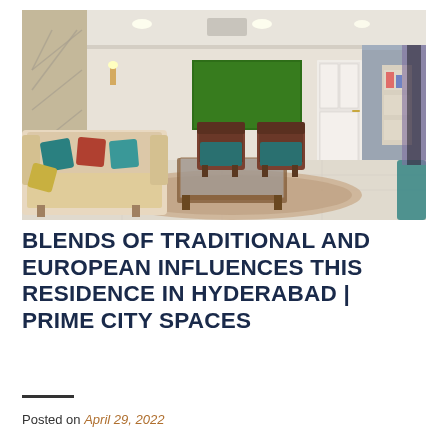[Figure (photo): Interior photo of a luxury living room blending traditional and European styles. Features a large cream tufted sofa with teal and red cushions, ornate wooden chairs with teal upholstery, a glass-top coffee table, a large green framed artwork on the back wall, mirrored wall panel on the left, recessed lighting, marble-look flooring, and a decorative rug.]
BLENDS OF TRADITIONAL AND EUROPEAN INFLUENCES THIS RESIDENCE IN HYDERABAD | PRIME CITY SPACES
Posted on April 29, 2022